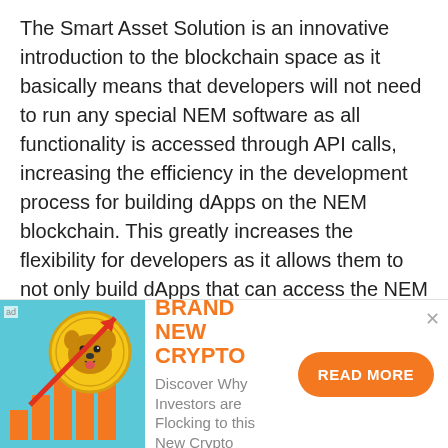The Smart Asset Solution is an innovative introduction to the blockchain space as it basically means that developers will not need to run any special NEM software as all functionality is accessed through API calls, increasing the efficiency in the development process for building dApps on the NEM blockchain. This greatly increases the flexibility for developers as it allows them to not only build dApps that can access the NEM API directly but also mix these API Calls with other server data whilst having NEM running in the background.

NEM also employs an innovative consensus algorithm that has been dubbed as Proof-of-Importance (PoI).
[Figure (illustration): Advertisement banner showing a cartoon dog on a gold coin with upward arrow and bar chart, for a new cryptocurrency promotion. Text: BRAND NEW CRYPTO. Discover Why Investors are Flocking to this New Crypto. READ MORE button.]